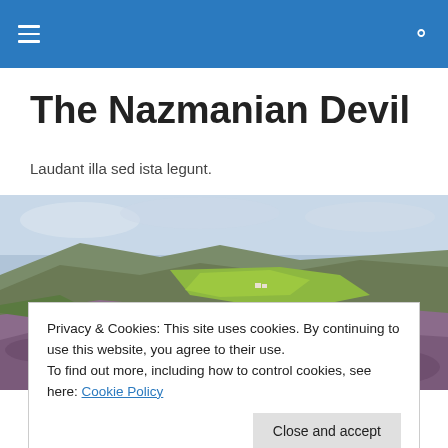Navigation bar with menu and search icons
The Nazmanian Devil
Laudant illa sed ista legunt.
[Figure (photo): Panoramic landscape photo of moorland hills with heather in purple bloom in the foreground, green valley fields in the middle distance, and an overcast sky above rolling hills.]
Privacy & Cookies: This site uses cookies. By continuing to use this website, you agree to their use.
To find out more, including how to control cookies, see here: Cookie Policy
[Close and accept button]
name!!. so here does